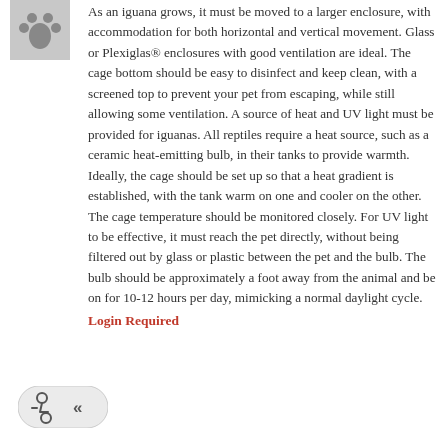[Figure (illustration): Grey square icon with a stylized paw/pet symbol in dark color, top left corner]
As an iguana grows, it must be moved to a larger enclosure, with accommodation for both horizontal and vertical movement. Glass or Plexiglas® enclosures with good ventilation are ideal. The cage bottom should be easy to disinfect and keep clean, with a screened top to prevent your pet from escaping, while still allowing some ventilation. A source of heat and UV light must be provided for iguanas. All reptiles require a heat source, such as a ceramic heat-emitting bulb, in their tanks to provide warmth. Ideally, the cage should be set up so that a heat gradient is established, with the tank warm on one and cooler on the other. The cage temperature should be monitored closely. For UV light to be effective, it must reach the pet directly, without being filtered out by glass or plastic between the pet and the bulb. The bulb should be approximately a foot away from the animal and be on for 10-12 hours per day, mimicking a normal daylight cycle.
Login Required
[Figure (other): Accessibility widget button with wheelchair icon and double left-arrow symbol, bottom left]